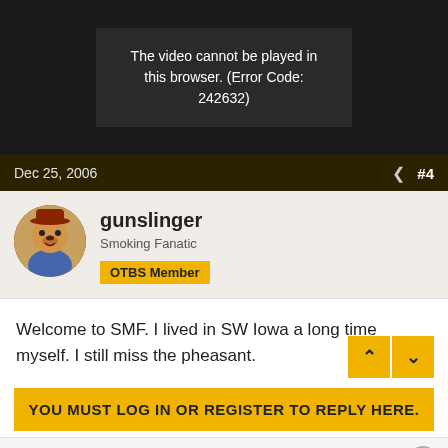[Figure (screenshot): Video player showing error message: 'The video cannot be played in this browser. (Error Code: 242632)']
Dec 25, 2006  #4
gunslinger
Smoking Fanatic
OTBS Member
Welcome to SMF. I lived in SW Iowa a long time myself. I still miss the pheasant.
YOU MUST LOG IN OR REGISTER TO REPLY HERE.